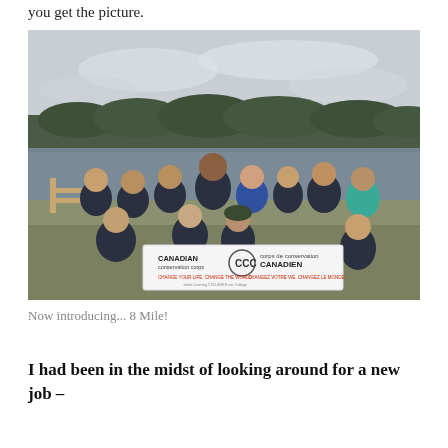you get the picture.
[Figure (photo): Group photo of approximately 12 young people posing outdoors near a lake with forested hills in the background. They are holding a banner that reads 'CANADIAN Conservation Corps CCC Corps de conservation Canadien – Change your life. Change the world. / Changez votre vie. Changez le monde.' Several people are kneeling in the front row and others standing behind. Most are wearing dark navy jackets.]
Now introducing... 8 Mile!
I had been in the midst of looking around for a new job –